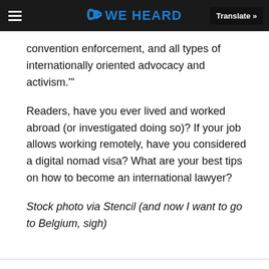WE HEARD | Translate »
convention enforcement, and all types of internationally oriented advocacy and activism."
Readers, have you ever lived and worked abroad (or investigated doing so)? If your job allows working remotely, have you considered a digital nomad visa? What are your best tips on how to become an international lawyer?
Stock photo via Stencil (and now I want to go to Belgium, sigh)